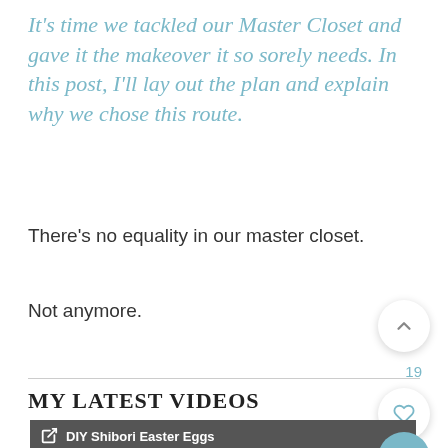It's time we tackled our Master Closet and gave it the makeover it so sorely needs. In this post, I'll lay out the plan and explain why we chose this route.
There's no equality in our master closet.
Not anymore.
MY LATEST VIDEOS
[Figure (screenshot): Video player thumbnail showing 'DIY Shibori Easter Eggs' with a dark header bar containing an external link icon, and a grey/black video thumbnail below with a play button arrow]